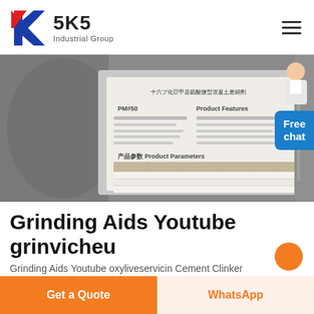[Figure (logo): SKS Industrial Group logo with red and blue K letter mark and text '5K5 Industrial Group']
[Figure (photo): Photo of an industrial product specification sheet on a factory floor background, showing Chinese text and a table of product parameters. A chat assistant avatar appears in the top right with a 'Free chat' bubble.]
Grinding Aids Youtube grinvicheu
Grinding Aids Youtube oxyliveservicin Cement Clinker
Get a Quote
WhatsApp